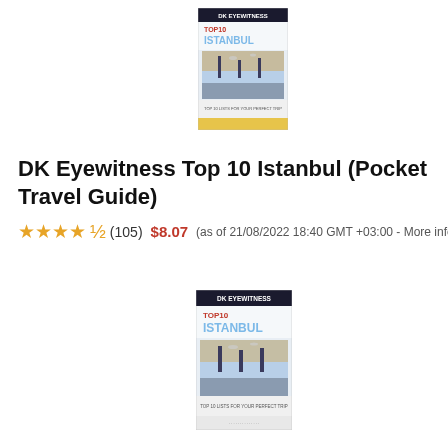[Figure (photo): Book cover: DK Eyewitness Top 10 Istanbul pocket travel guide, showing cityscape with minarets and seagulls]
DK Eyewitness Top 10 Istanbul (Pocket Travel Guide)
★★★★½ (105) $8.07  (as of 21/08/2022 18:40 GMT +03:00 - More info)
[Figure (photo): Book cover: DK Eyewitness Top 10 Istanbul pocket travel guide, duplicate/larger rendering]